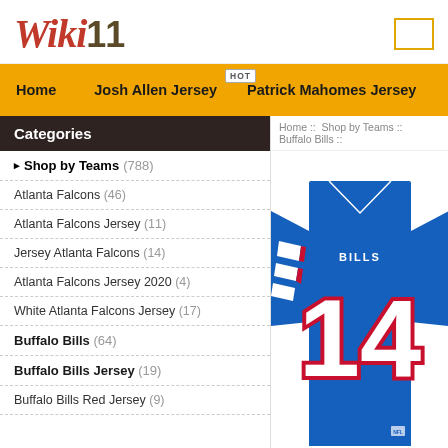Wiki11
Home  Josh Allen Jersey  Patrick Mahomes Jersey
Home :: Shop by Teams :: Buffalo Bills ::
Categories
Shop by Teams (788)
Atlanta Falcons (46)
Atlanta Falcons Jersey (11)
Jersey Atlanta Falcons (14)
Atlanta Falcons Jersey 2020 (4)
White Atlanta Falcons Jersey (17)
Buffalo Bills (64)
Buffalo Bills Jersey (19)
Buffalo Bills Red Jersey (9)
[Figure (photo): Buffalo Bills football jersey number 14 in royal blue with white and red accents, BILLS text on chest]